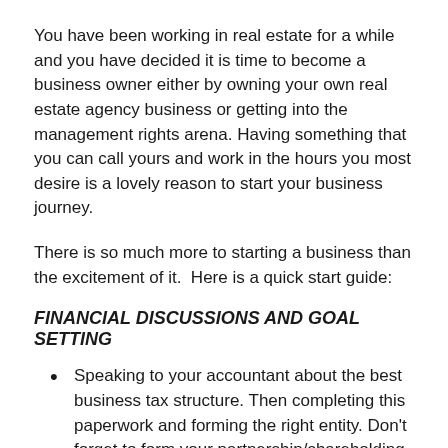You have been working in real estate for a while and you have decided it is time to become a business owner either by owning your own real estate agency business or getting into the management rights arena. Having something that you can call yours and work in the hours you most desire is a lovely reason to start your business journey.
There is so much more to starting a business than the excitement of it.  Here is a quick start guide:
FINANCIAL DISCUSSIONS AND GOAL SETTING
Speaking to your accountant about the best business tax structure. Then completing this paperwork and forming the right entity. Don't forget to form your partnership/shareholding agreements with a solicitor (if applicable).